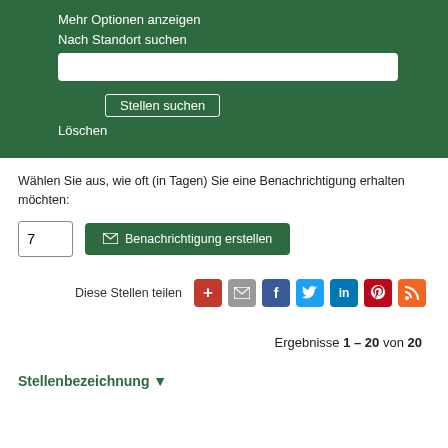Mehr Optionen anzeigen
Nach Standort suchen
Stellen suchen
Löschen
Wählen Sie aus, wie oft (in Tagen) Sie eine Benachrichtigung erhalten möchten:
7
✉ Benachrichtigung erstellen
Diese Stellen teilen
Ergebnisse 1 – 20 von 20
Stellenbezeichnung ▼